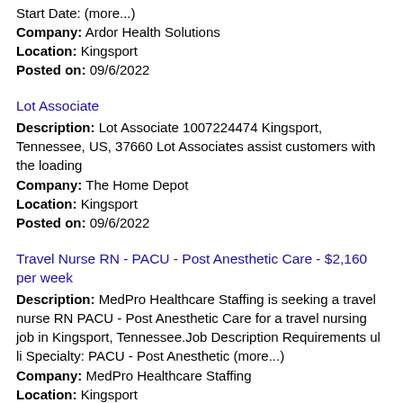Start Date: (more...)
Company: Ardor Health Solutions
Location: Kingsport
Posted on: 09/6/2022
Lot Associate
Description: Lot Associate 1007224474 Kingsport, Tennessee, US, 37660 Lot Associates assist customers with the loading
Company: The Home Depot
Location: Kingsport
Posted on: 09/6/2022
Travel Nurse RN - PACU - Post Anesthetic Care - $2,160 per week
Description: MedPro Healthcare Staffing is seeking a travel nurse RN PACU - Post Anesthetic Care for a travel nursing job in Kingsport, Tennessee.Job Description Requirements ul li Specialty: PACU - Post Anesthetic (more...)
Company: MedPro Healthcare Staffing
Location: Kingsport
Posted on: 09/6/2022
CNA : Make your own schedule and get paid next day! Up to $23